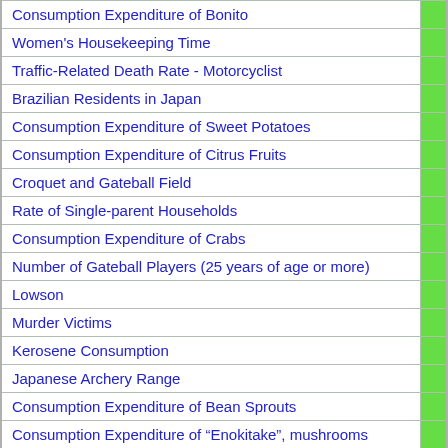| Item |  |
| --- | --- |
| Consumption Expenditure of Bonito |  |
| Women's Housekeeping Time |  |
| Traffic-Related Death Rate - Motorcyclist |  |
| Brazilian Residents in Japan |  |
| Consumption Expenditure of Sweet Potatoes |  |
| Consumption Expenditure of Citrus Fruits |  |
| Croquet and Gateball Field |  |
| Rate of Single-parent Households |  |
| Consumption Expenditure of Crabs |  |
| Number of Gateball Players (25 years of age or more) |  |
| Lowson |  |
| Murder Victims |  |
| Kerosene Consumption |  |
| Japanese Archery Range |  |
| Consumption Expenditure of Bean Sprouts |  |
| Consumption Expenditure of “Enokitake”, mushrooms |  |
| Consumption Expenditure of "Wakame", seaweed |  |
| BMI Female |  |
| Consumption Expenditure of Frozen Food |  |